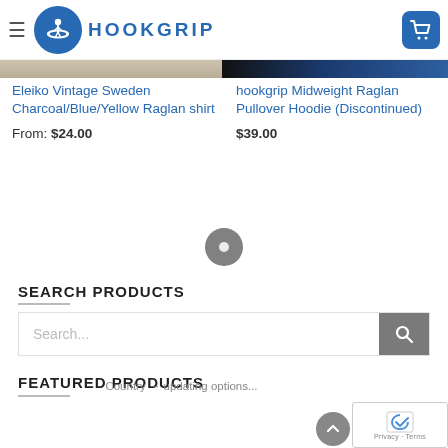[Figure (logo): Hookgrip brand header with hamburger menu, circular blue logo with weightlifter silhouette, HOOKGRIP text, and shopping cart button]
[Figure (photo): Partial product images: left shows Eleiko Vintage Sweden shirt in charcoal/beige, right shows hookgrip Midweight Raglan Pullover Hoodie in dark blue/black]
Eleiko Vintage Sweden Charcoal/Blue/Yellow Raglan shirt
From: $24.00
hookgrip Midweight Raglan Pullover Hoodie (Discontinued)
$39.00
[Figure (other): Pagination dot (grey circle with white dot)]
SEARCH PRODUCTS
[Figure (screenshot): Search input box with placeholder text 'Search...' and grey search button with magnifier icon]
FEATURED PRODUCTS
Country → updating options...
[Figure (other): reCAPTCHA privacy widget with checkbox and Privacy/Terms links]